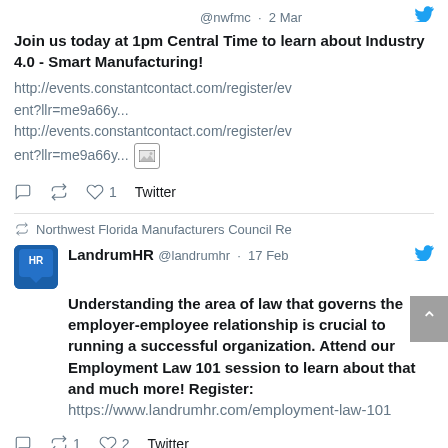@nwfmc · 2 Mar
Join us today at 1pm Central Time to learn about Industry 4.0 - Smart Manufacturing!
http://events.constantcontact.com/register/event?llr=me9a66y... http://events.constantcontact.com/register/event?llr=me9a66y... [image icon]
Reply Retweet Like 1 Twitter
Northwest Florida Manufacturers Council Re
LandrumHR @landrumhr · 17 Feb
Understanding the area of law that governs the employer-employee relationship is crucial to running a successful organization. Attend our Employment Law 101 session to learn about that and much more! Register: https://www.landrumhr.com/employment-law-101
Reply Retweet 1 Like 2 Twitter